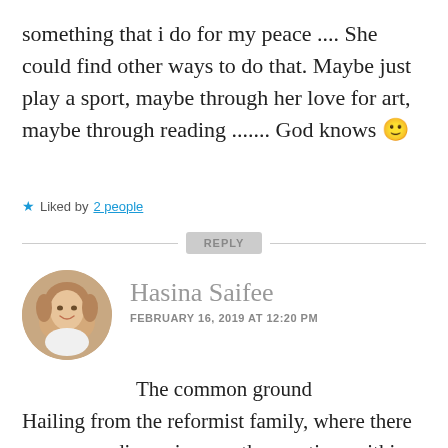something that i do for my peace .... She could find other ways to do that. Maybe just play a sport, maybe through her love for art, maybe through reading ....... God knows 🙂
★ Liked by 2 people
REPLY
[Figure (photo): Circular avatar photo of Hasina Saifee, a woman with light brown hair smiling, wearing a white top]
Hasina Saifee
FEBRUARY 16, 2019 AT 12:20 PM
The common ground
Hailing from the reformist family, where there were open discussions on the practices within